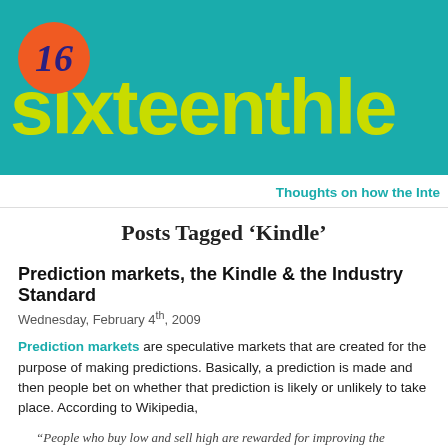[Figure (logo): Sixteenth letter blog header with teal background, orange circle with '16' in blue italic, and lime green bold text 'sixteenthle' (cropped)]
Thoughts on how the Inte
Posts Tagged ‘Kindle’
Prediction markets, the Kindle & the Industry Standard
Wednesday, February 4th, 2009
Prediction markets are speculative markets that are created for the purpose of making predictions. Basically, a prediction is made and then people bet on whether that prediction is likely or unlikely to take place. According to Wikipedia,
“People who buy low and sell high are rewarded for improving the market prediction, while those who buy high and sell low are punished for degrading the market prediction. Evidence so far suggests that prediction markets are at least as accurate as other institutions